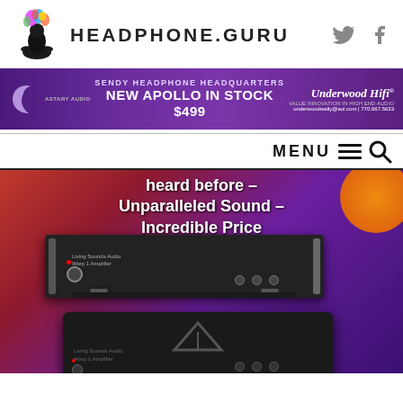[Figure (logo): Headphone.guru logo with meditating figure and colorful explosion above head]
HEADPHONE.GURU
[Figure (infographic): Banner advertisement for Sendy Headphone Headquarters - New Apollo in Stock $499 - Underwood HiFi, underwoodwally@aol.com | 770.667.5633]
[Figure (infographic): Navigation menu bar with MENU text, hamburger icon, and search icon]
[Figure (photo): Advertisement image showing Living Sounds Audio Warp 1 Amplifier on colorful red/orange/purple background with text: heard before - Unparalleled Sound - Incredible Price]